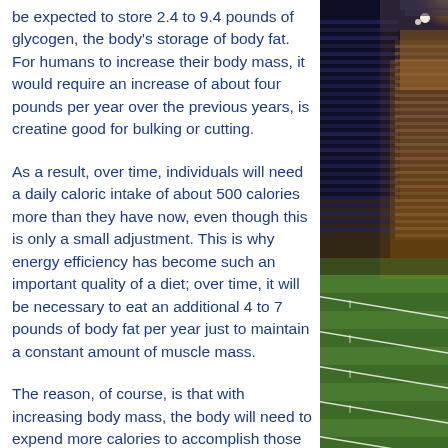be expected to store 2.4 to 9.4 pounds of glycogen, the body's storage of body fat. For humans to increase their body mass, it would require an increase of about four pounds per year over the previous years, is creatine good for bulking or cutting.
As a result, over time, individuals will need a daily caloric intake of about 500 calories more than they have now, even though this is only a small adjustment. This is why energy efficiency has become such an important quality of a diet; over time, it will be necessary to eat an additional 4 to 7 pounds of body fat per year just to maintain a constant amount of muscle mass.
The reason, of course, is that with increasing body mass, the body will need to expend more calories to accomplish those very same things, bulking workout beginner.
[Figure (photo): A brightly lit sports stadium at night with field markings visible at the bottom, crowd in stands, and bright floodlights]